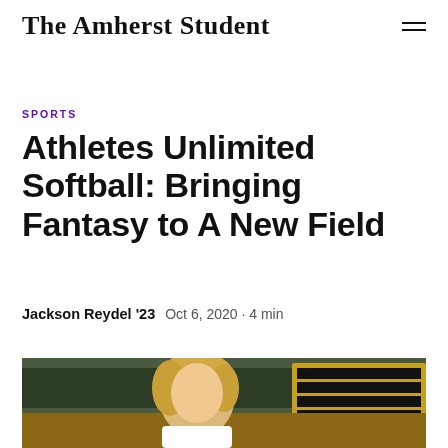The Amherst Student
SPORTS
Athletes Unlimited Softball: Bringing Fantasy to A New Field
Jackson Reydel '23  Oct 6, 2020 · 4 min
[Figure (photo): Blonde female athlete outdoors on a softball field with a scoreboard sign visible in the background]